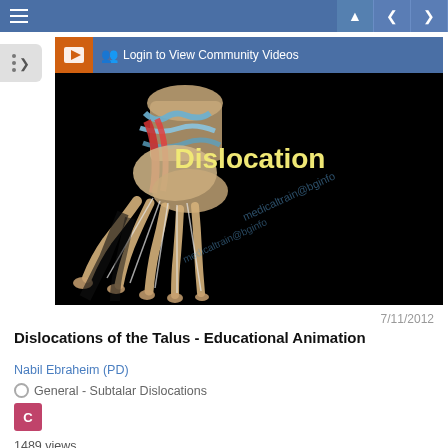Navigation bar with menu and forward/back controls
[Figure (screenshot): Video thumbnail showing anatomical illustration of foot/talus bones with 'Dislocation' text overlay on black background, with watermark text. Login to View Community Videos bar shown above thumbnail.]
7/11/2012
Dislocations of the Talus - Educational Animation
Nabil Ebraheim (PD)
General - Subtalar Dislocations
C
1489 views